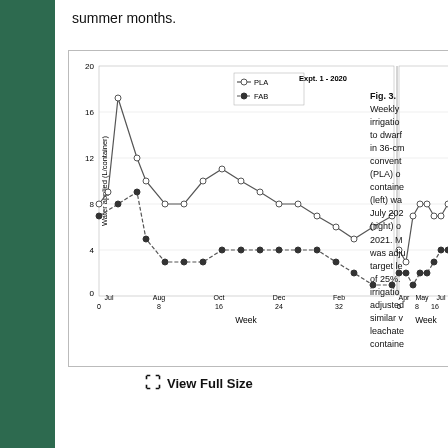summer months.
[Figure (line-chart): Expt. 1 - 2020 (left) / 2021 (right)]
Fig. 3. Weekly irrigation to dwarf in 36-cm conventional (PLA) or containers (left) was July 2020 (right) of 2021. M was adjusted target level of 25%. irrigation adjusted similar leachate containers